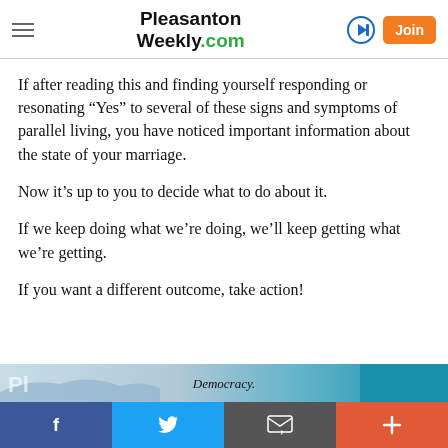Pleasanton Weekly.com
If after reading this and finding yourself responding or resonating “Yes” to several of these signs and symptoms of parallel living, you have noticed important information about the state of your marriage.
Now it’s up to you to decide what to do about it.
If we keep doing what we’re doing, we’ll keep getting what we’re getting.
If you want a different outcome, take action!
[Figure (screenshot): Advertisement banner showing a landscape image with text 'Democracy.']
Social sharing bar: Facebook, Twitter, Email, Plus